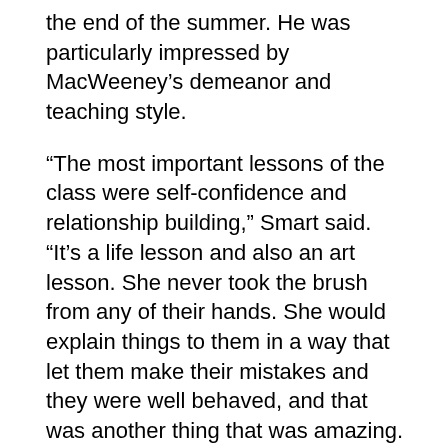the end of the summer. He was particularly impressed by MacWeeney's demeanor and teaching style.
“The most important lessons of the class were self-confidence and relationship building,” Smart said. “It’s a life lesson and also an art lesson. She never took the brush from any of their hands. She would explain things to them in a way that let them make their mistakes and they were well behaved, and that was another thing that was amazing. I saw this little woman controlling kids that I have trouble controlling on the street.”
MacWeeney started the program at least 16 years ago when she worked as the director of Dot Art. The next class is going to start on Wednesday in the middle of February vacation week, and she is looking for more students. Email